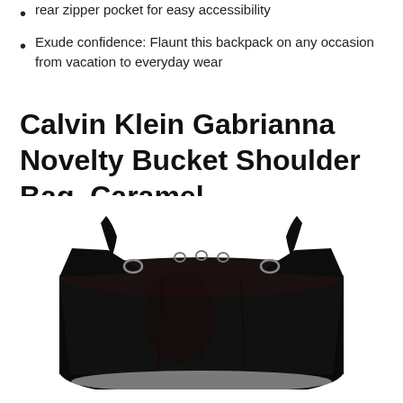rear zipper pocket for easy accessibility
Exude confidence: Flaunt this backpack on any occasion from vacation to everyday wear
Calvin Klein Gabrianna Novelty Bucket Shoulder Bag, Caramel
[Figure (photo): Calvin Klein Gabrianna Novelty Bucket Shoulder Bag in a dark/black colorway, photographed against a white background. The bag is a bucket-style drawstring shoulder bag with metal ring hardware and a structured silhouette.]